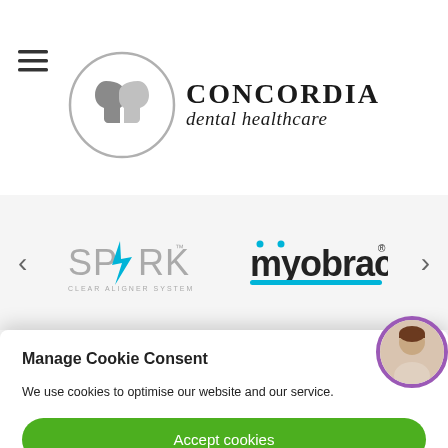[Figure (logo): Concordia Dental Healthcare logo — circular emblem with two face profiles and text 'CONCORDIA dental healthcare']
[Figure (logo): SPARK Clear Aligner System logo (grey text with teal spark mark) and myobrace logo (dark and teal text with registered mark)]
Manage Cookie Consent
We use cookies to optimise our website and our service.
Accept cookies
Preferences